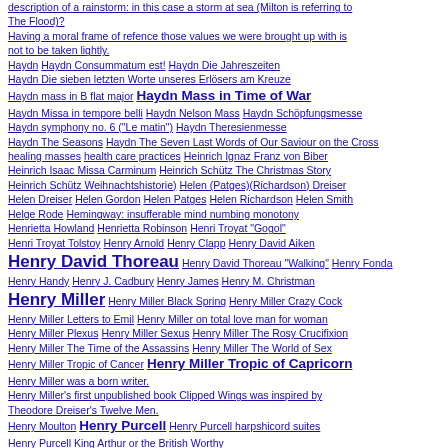description of a rainstorm: in this case a storm at sea (Milton is referring to The Flood)?
Having a moral frame of refence those values we were brought up with is not to be taken lightly.
Haydn  Haydn Consummatum est!  Haydn Die Jahreszeiten
Haydn Die sieben letzten Worte unseres Erlösers am Kreuze
Haydn mass in B flat major  Haydn Mass in Time of War
Haydn Missa in tempore belli  Haydn Nelson Mass  Haydn Schöpfungsmesse
Haydn symphony no. 6 ("Le matin")  Haydn Theresienmesse
Haydn The Seasons  Haydn The Seven Last Words of Our Saviour on the Cross
healing masses  health care practices  Heinrich Ignaz Franz von Biber
Heinrich Isaac Missa Carminum  Heinrich Schütz The Christmas Story
Heinrich Schütz Weihnachtshistorie)  Helen (Patges)(Richardson) Dreiser
Helen Dreiser  Helen Gordon  Helen Patges  Helen Richardson  Helen Smith
Helge Rode  Hemingway: insufferable mind numbing monotony
Henrietta Howland  Henrietta Robinson  Henri Troyat "Gogol"
Henri Troyat Tolstoy  Henry Arnold  Henry Clapp  Henry David Aiken
Henry David Thoreau  Henry David Thoreau "Walking"  Henry Fonda
Henry Handy  Henry J. Cadbury  Henry James  Henry M. Christman
Henry Miller  Henry Miller Black Spring  Henry Miller Crazy Cock
Henry Miller Letters to Emil  Henry Miller on total love man for woman
Henry Miller Plexus  Henry Miller Sexus  Henry Miller The Rosy Crucifixion
Henry Miller The Time of the Assassins  Henry Miller The World of Sex
Henry Miller Tropic of Cancer  Henry Miller Tropic of Capricorn
Henry Miller was a born writer.
Henry Miller's first unpublished book Clipped Wings was inspired by Theodore Dreiser's Twelve Men.
Henry Moulton  Henry Purcell  Henry Purcell harpshicord suites
Henry Purcell King Arthur or the British Worthy
Henry Purcell "The Fairy-Queen"  Henry Roth Call It Sleep  Henry S. Moulton
Henry Smith  Henry Sweet Moulton  Henry T. Handy
Henry T. Handy First Mate Morning Star  Henry T. Handy whaler
Henry Thomas Handy  Henry W. Smith  Henry Ward Beecher